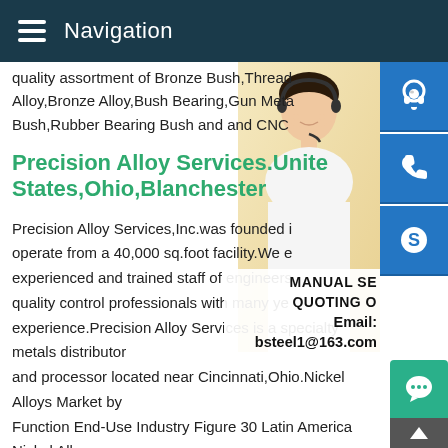Navigation
quality assortment of Bronze Bush,Thread Alloy,Bronze Alloy,Bush Bearing,Gun Meta Bush,Rubber Bearing Bush and and CNC
Precision Alloy Services.Unite States,Ohio,Blanchester
Precision Alloy Services,Inc.was founded i operate from a 40,000 sq.foot facility.We e experienced and trained staff of engineers quality control professionals with many ye experience.Precision Alloy Services is a specialty metals distributor and processor located near Cincinnati,Ohio.Nickel Alloys Market by Function End-Use Industry Figure 30 Latin America Nickel Alloy Market Snapshot Figure 31 Middle East Africa Nickel Alloy Ma Snapshot Figure 32 Competitive Leadership Mapping,2016 Fi 33 Precision Castparts Corporation (U.S.) is the Leading Playa
[Figure (photo): Customer service representative woman wearing headset]
[Figure (infographic): Blue sidebar icons: headset, phone, Skype logo, plus MANUAL SE, QUOTING O, Email: bsteel1@163.com labels]